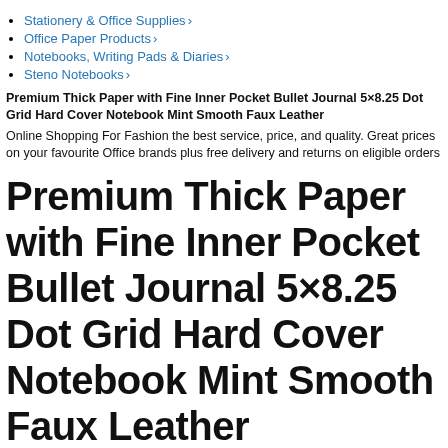Stationery & Office Supplies›
Office Paper Products›
Notebooks, Writing Pads & Diaries›
Steno Notebooks›
Premium Thick Paper with Fine Inner Pocket Bullet Journal 5×8.25 Dot Grid Hard Cover Notebook Mint Smooth Faux Leather
Online Shopping For Fashion the best service, price, and quality. Great prices on your favourite Office brands plus free delivery and returns on eligible orders
Premium Thick Paper with Fine Inner Pocket Bullet Journal 5×8.25 Dot Grid Hard Cover Notebook Mint Smooth Faux Leather